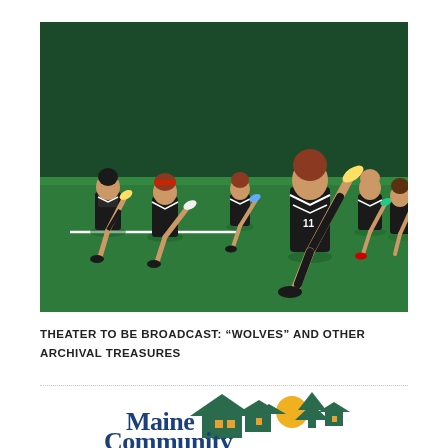[Figure (photo): Girls youth soccer team in black uniforms doing warm-up kicks on an indoor green turf field with dark green background]
THEATER TO BE BROADCAST: “WOLVES” AND OTHER ARCHIVAL TREASURES
[Figure (logo): Maine Community Foundation logo with house/tree icons and text 'Maine Community']